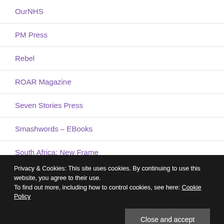OurNHS
PM Press
Rebel
ROAR Magazine
Seven Stories Press
Smashwords – EBooks
South Africa: New Frame
Privacy & Cookies: This site uses cookies. By continuing to use this website, you agree to their use.
To find out more, including how to control cookies, see here: Cookie Policy
Strategic Culture Foundation